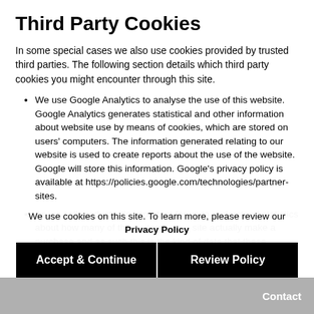Third Party Cookies
In some special cases we also use cookies provided by trusted third parties. The following section details which third party cookies you might encounter through this site.
We use Google Analytics to analyse the use of this website. Google Analytics generates statistical and other information about website use by means of cookies, which are stored on users' computers. The information generated relating to our website is used to create reports about the use of the website. Google will store this information. Google's privacy policy is available at https://policies.google.com/technologies/partner-sites.
As we sell products it's important for us to understand statistics about how many of the visitors to our site actually make a purchase and as such this is the kind of data that these cookies will track. This is important to you as it means that we can accurately make business predictions that allow us to monitor our advertising and product costs to ensure the best possible price.
Several of these tracking cookies simply allow us to se...
We use cookies on this site. To learn more, please review our Privacy Policy
Accept & Continue
Review Policy
Contact